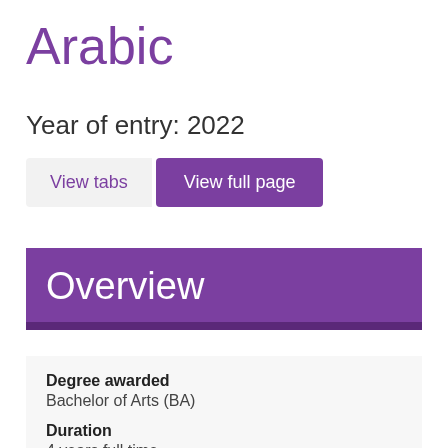Arabic
Year of entry: 2022
View tabs  View full page
Overview
Degree awarded
Bachelor of Arts (BA)
Duration
4 years full time